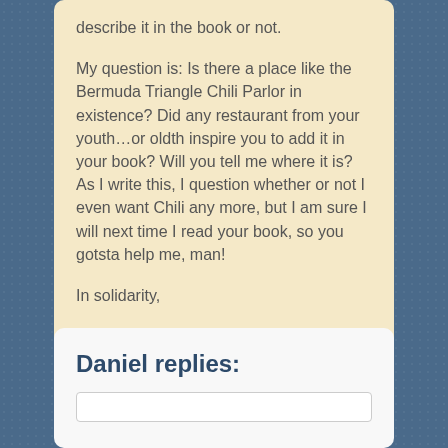describe it in the book or not.

My question is: Is there a place like the Bermuda Triangle Chili Parlor in existence? Did any restaurant from your youth…or oldth inspire you to add it in your book? Will you tell me where it is? As I write this, I question whether or not I even want Chili any more, but I am sure I will next time I read your book, so you gotsta help me, man!

In solidarity,

….Nick
Daniel replies: